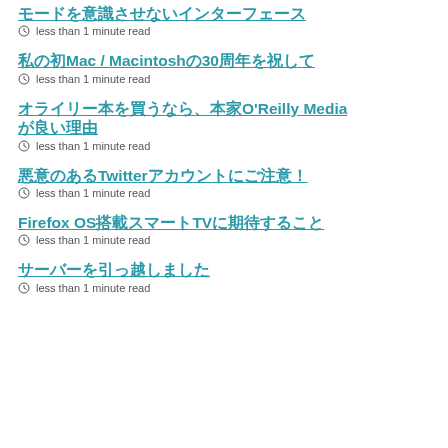モードを意識させないインターフェース
less than 1 minute read
私の初Mac / Macintoshの30周年を祝して
less than 1 minute read
オライリー本を買うなら、本家O'Reilly Mediaが良い理由
less than 1 minute read
悪意のあるTwitterアカウントにご注意！
less than 1 minute read
Firefox OS搭載スマートTVに期待すること
less than 1 minute read
サーバーを引っ越しました
less than 1 minute read